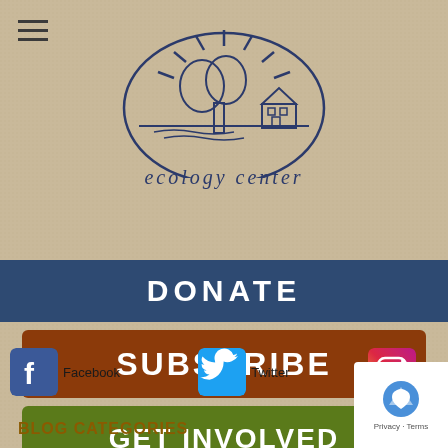[Figure (logo): Ecology Center logo — line art illustration of a tree, sun rays, and a house inside an oval, with text 'ecology center' below in navy blue italic serif font]
DONATE
SUBSCRIBE
GET INVOLVED
[Figure (illustration): Facebook icon — blue square with white letter f]
Facebook
[Figure (illustration): Twitter icon — light blue square with white bird logo]
Twitter
[Figure (illustration): Instagram icon — gradient square with camera outline]
Ins
BLOG CATEGORIES